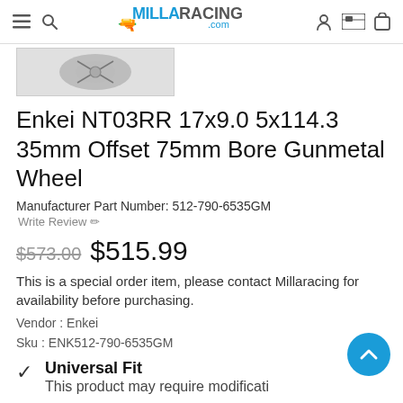MillaRacing.com
[Figure (photo): Partial view of a gunmetal wheel product image on a grey background]
Enkei NT03RR 17x9.0 5x114.3 35mm Offset 75mm Bore Gunmetal Wheel
Manufacturer Part Number: 512-790-6535GM
Write Review ✏
$573.00  $515.99
This is a special order item, please contact Millaracing for availability before purchasing.
Vendor : Enkei
Sku : ENK512-790-6535GM
Universal Fit
This product may require modificati…
Quantity